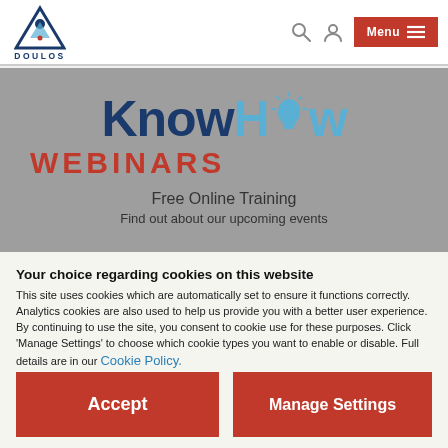DOULOS — Menu navigation header with logo, search icon, user icon, and Menu button
[Figure (logo): KnowHow Webinars banner with lightbulb graphic on grey background. Text: KnowHow WEBINARS — Free Online Training. Find out about our upcoming events.]
Your choice regarding cookies on this website
This site uses cookies which are automatically set to ensure it functions correctly. Analytics cookies are also used to help us provide you with a better user experience.
By continuing to use the site, you consent to cookie use for these purposes. Click 'Manage Settings' to choose which cookie types you want to enable or disable. Full details are in our Cookie Policy.
Accept
Manage Settings